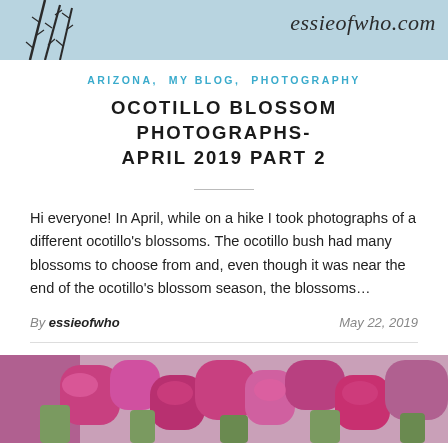[Figure (photo): Blog header image showing thorny ocotillo plant stems against a light blue-grey sky background with the website name 'essieofwho.com' in italic text on the right side]
ARIZONA, MY BLOG, PHOTOGRAPHY
OCOTILLO BLOSSOM PHOTOGRAPHS- APRIL 2019 PART 2
Hi everyone! In April, while on a hike I took photographs of a different ocotillo's blossoms. The ocotillo bush had many blossoms to choose from and, even though it was near the end of the ocotillo's blossom season, the blossoms...
By essieofwho  May 22, 2019
[Figure (photo): Close-up photograph of bright pink/magenta ocotillo blossoms with green foliage against a light background]